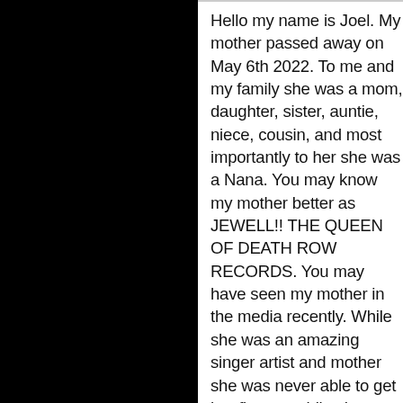Hello my name is Joel. My mother passed away on May 6th 2022. To me and my family she was a mom, daughter, sister, auntie, niece, cousin, and most importantly to her she was a Nana. You may know my mother better as JEWELL!! THE QUEEN OF DEATH ROW RECORDS. You may have seen my mother in the media recently. While she was an amazing singer artist and mother she was never able to get her flowers while she was here. I know my mother touched the lives of many people either in person through her words or friendship or through her music. As her oldest son it tears me apart that I wasn't able to financially put my mother to rest and instead that responsibility has fallen to my grandmother. I would like to be able to reimburse my grandmother. Be able to...